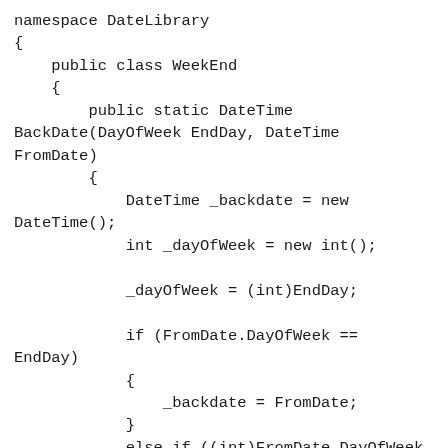namespace DateLibrary
{
    public class WeekEnd
    {
        public static DateTime BackDate(DayOfWeek EndDay, DateTime FromDate)
        {
            DateTime _backdate = new DateTime();
            int _dayOfWeek = new int();

            _dayOfWeek = (int)EndDay;

            if (FromDate.DayOfWeek == EndDay)
            {
                _backdate = FromDate;
            }
            else if ((int)FromDate.DayOfWeek > (int)EndDay)
            {
                _backdate = FromDate.AddDays(-(int)FromDate.DayOfWeek - (int)EndDay);